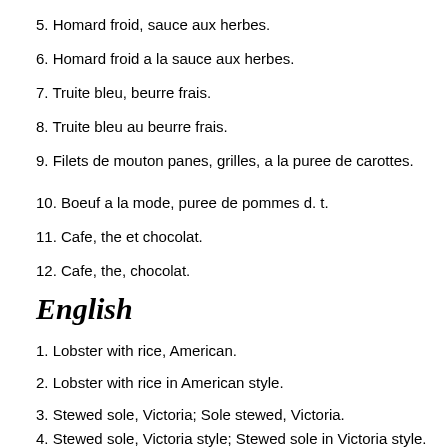5. Homard froid, sauce aux herbes.
6. Homard froid a la sauce aux herbes.
7. Truite bleu, beurre frais.
8. Truite bleu au beurre frais.
9. Filets de mouton panes, grilles, a la puree de carottes.
10. Boeuf a la mode, puree de pommes d. t.
11. Cafe, the et chocolat.
12. Cafe, the, chocolat.
English
1. Lobster with rice, American.
2. Lobster with rice in American style.
3. Stewed sole, Victoria; Sole stewed, Victoria.
4. Stewed sole, Victoria style; Stewed sole in Victoria style.